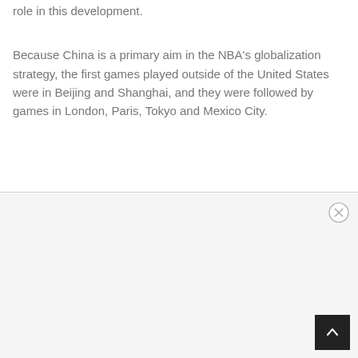role in this development.
Because China is a primary aim in the NBA's globalization strategy, the first games played outside of the United States were in Beijing and Shanghai, and they were followed by games in London, Paris, Tokyo and Mexico City.